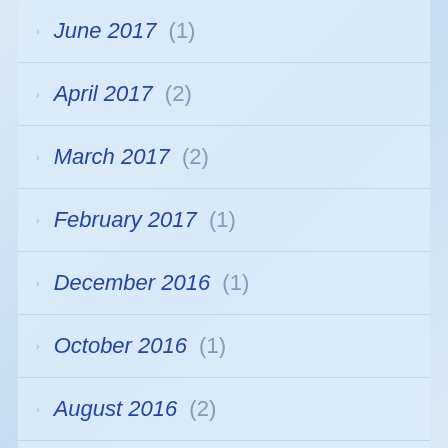June 2017 (1)
April 2017 (2)
March 2017 (2)
February 2017 (1)
December 2016 (1)
October 2016 (1)
August 2016 (2)
July 2016 (1)
June 2016 (1)